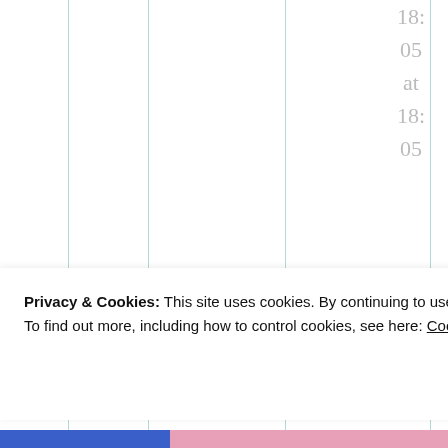18:
05
at
18:
05
Done
★ Like
↳ Reply
Privacy & Cookies: This site uses cookies. By continuing to use this website, you agree to their use.
To find out more, including how to control cookies, see here: Cookie Policy
Close and accept